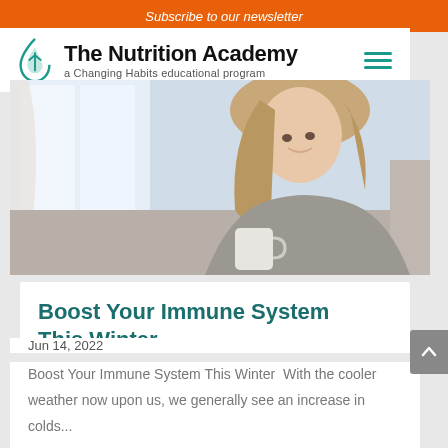Subscribe to our newsletter
[Figure (logo): The Nutrition Academy logo — teal leaf/drop icon with text 'The Nutrition Academy' and subtitle 'a Changing Habits educational program']
[Figure (photo): Woman in grey knit sweater sitting on a couch, smiling and holding a white mug, with a bright window in the background]
Boost Your Immune System This Winter
Jun 14, 2022
Boost Your Immune System This Winter  With the cooler weather now upon us, we generally see an increase in colds...